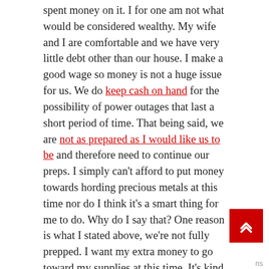spent money on it. I for one am not what would be considered wealthy. My wife and I are comfortable and we have very little debt other than our house. I make a good wage so money is not a huge issue for us. We do keep cash on hand for the possibility of power outages that last a short period of time. That being said, we are not as prepared as I would like us to be and therefore need to continue our preps. I simply can't afford to put money towards hording precious metals at this time nor do I think it's a smart thing for me to do. Why do I say that? One reason is what I stated above, we're not fully prepped. I want my extra money to go toward my supplies at this time. It's kind of like needing to pay off your credit cards before you can start saving money.

Another reason I don't think I would put gold as